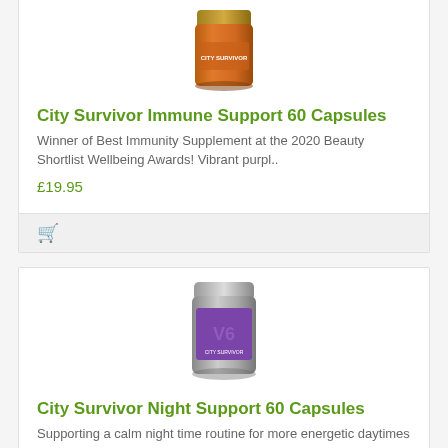[Figure (photo): Product photo of City Survivor Immune Support 60 Capsules — orange/copper colored supplement canister with gold lid, partially cropped at top]
City Survivor Immune Support 60 Capsules
Winner of Best Immunity Supplement at the 2020 Beauty Shortlist Wellbeing Awards! Vibrant purpl..
£19.95
[Figure (photo): Silver and purple supplement canister for City Survivor Night Support 60 Capsules with purple label showing number design]
City Survivor Night Support 60 Capsules
Supporting a calm night time routine for more energetic daytimes - Magnesium is important for normal..
£14.95